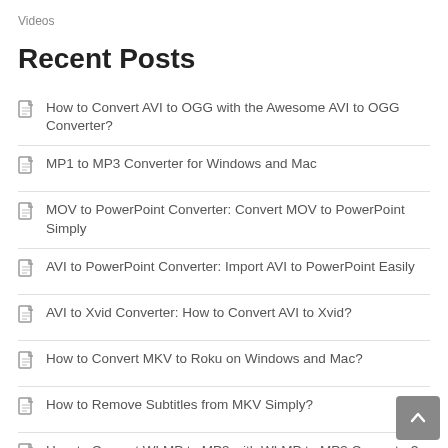Videos
Recent Posts
How to Convert AVI to OGG with the Awesome AVI to OGG Converter?
MP1 to MP3 Converter for Windows and Mac
MOV to PowerPoint Converter: Convert MOV to PowerPoint Simply
AVI to PowerPoint Converter: Import AVI to PowerPoint Easily
AVI to Xvid Converter: How to Convert AVI to Xvid?
How to Convert MKV to Roku on Windows and Mac?
How to Remove Subtitles from MKV Simply?
How to Convert WLMP to MP3 with WLMP to MP3 Converter?
ARF to MP3 Converter: How to Convert ARF to MP3?
WMA to MP2 Converter: Convert WMA Files to MP2 Easily
WMA to OGG Converter: Convert WMA to OGG Simply